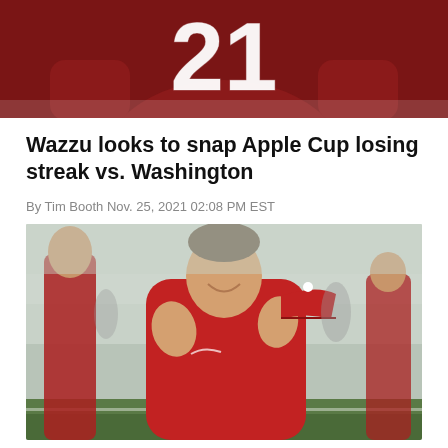[Figure (photo): Washington State football player wearing jersey number 21 in a crimson uniform, cropped to show torso only]
Wazzu looks to snap Apple Cup losing streak vs. Washington
By Tim Booth Nov. 25, 2021 02:08 PM EST
[Figure (photo): Washington State football coach in a red jacket smiling and gesturing with hands raised, holding a crimson cap with W logo, standing on a foggy field]